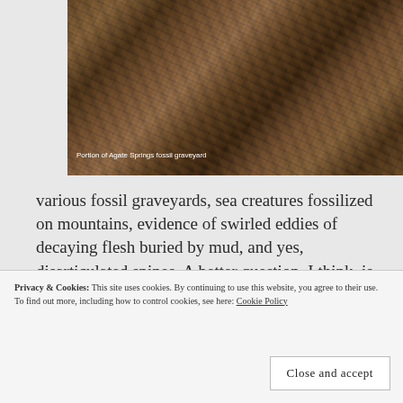[Figure (photo): Close-up photograph of a fossil graveyard showing densely packed fossilized remains with brown and dark tones, labeled 'Portion of Agate Springs fossil graveyard']
Portion of Agate Springs fossil graveyard
various fossil graveyards, sea creatures fossilized on mountains, evidence of swirled eddies of decaying flesh buried by mud, and yes, disarticulated spines. A better question, I think, is how do you explain this picture and many like it without a global catastrophe?  Could this happen all over the world with slow natural processes?
Privacy & Cookies: This site uses cookies. By continuing to use this website, you agree to their use.
To find out more, including how to control cookies, see here: Cookie Policy
before death (closed), found on Mt Everest? And I